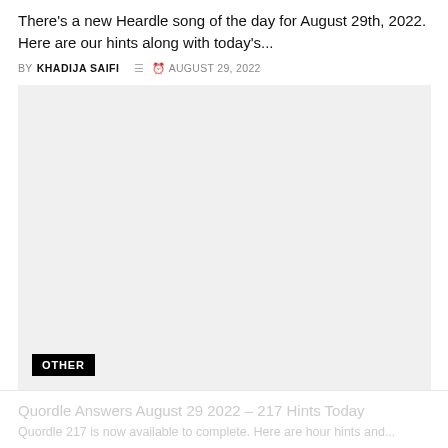There's a new Heardle song of the day for August 29th, 2022. Here are our hints along with today's...
BY KHADIJA SAIFI  © AUGUST 29, 2022
[Figure (other): Gray placeholder image block with a black 'OTHER' badge in the bottom left corner]
Quordle Answers August 29 2022 – 217 Hints Today
Quordle 217 is now available to complete. Here are hour hints and...